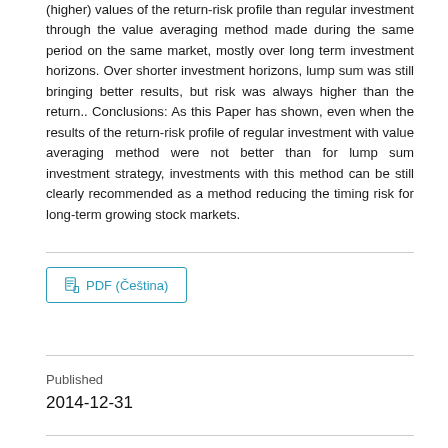(higher) values of the return-risk profile than regular investment through the value averaging method made during the same period on the same market, mostly over long term investment horizons. Over shorter investment horizons, lump sum was still bringing better results, but risk was always higher than the return.. Conclusions: As this Paper has shown, even when the results of the return-risk profile of regular investment with value averaging method were not better than for lump sum investment strategy, investments with this method can be still clearly recommended as a method reducing the timing risk for long-term growing stock markets.
PDF (Čeština)
Published
2014-12-31